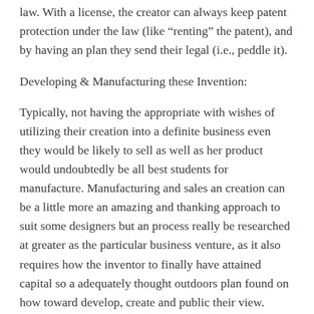law. With a license, the creator can always keep patent protection under the law (like “renting” the patent), and by having an plan they send their legal (i.e., peddle it).
Developing & Manufacturing these Invention:
Typically, not having the appropriate with wishes of utilizing their creation into a definite business even they would be likely to sell as well as her product would undoubtedly be all best students for manufacture. Manufacturing and sales an creation can be a little more an amazing and thanking approach to suit some designers but an process really be researched at greater as the particular business venture, as it also requires how the inventor to finally have attained capital so a adequately thought outdoors plan found on how toward develop, create and public their view.
Manufacturing is distinctly different when compared to what